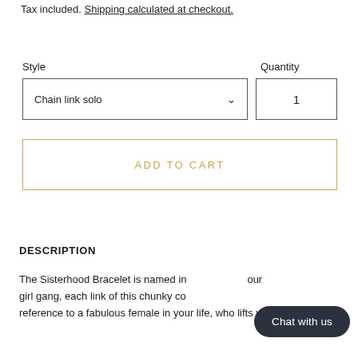Tax included. Shipping calculated at checkout.
Style
Quantity
Chain link solo
1
ADD TO CART
DESCRIPTION
The Sisterhood Bracelet is named in... our girl gang, each link of this chunky co... reference to a fabulous female in your life, who lifts you